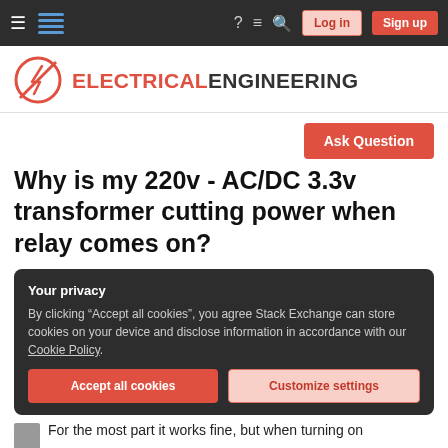Electrical Engineering Stack Exchange — navigation bar with Log in and Sign up buttons
[Figure (logo): Electrical Engineering Stack Exchange logo: red circle with diagonal line and lightning bolt icon, followed by ELECTRICAL ENGINEERING text]
Ask Question
Why is my 220v - AC/DC 3.3v transformer cutting power when relay comes on?
Your privacy
By clicking "Accept all cookies", you agree Stack Exchange can store cookies on your device and disclose information in accordance with our Cookie Policy.
Accept all cookies   Customize settings
For the most part it works fine, but when turning on